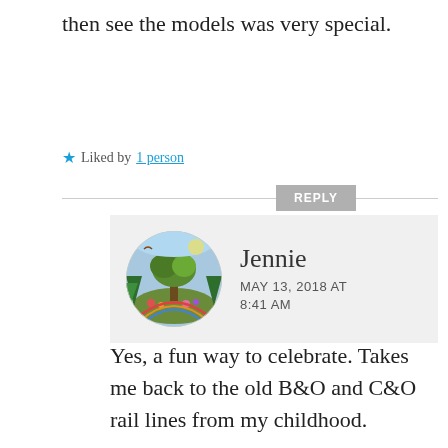then see the models was very special.
★ Liked by 1 person
REPLY
[Figure (photo): Circular avatar image showing a colorful folk-art style quilt or tapestry with a tree, mountains, and rainbow motifs]
Jennie
MAY 13, 2018 AT 8:41 AM
Yes, a fun way to celebrate. Takes me back to the old B&O and C&O rail lines from my childhood.